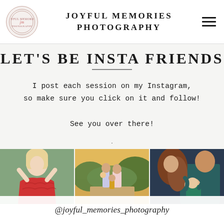JOYFUL MEMORIES PHOTOGRAPHY
LET'S BE INSTA FRIENDS
I post each session on my Instagram, so make sure you click on it and follow!
See you over there!
[Figure (photo): Three Instagram photos side by side: a woman in a red lace dress, a family of four outdoors at golden hour, and a couple with a baby]
@joyful_memories_photography